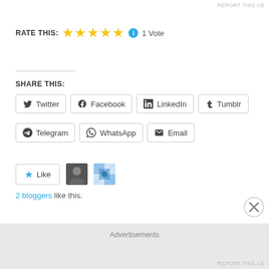REPORT THIS AS
RATE THIS: ★★★★★  1 Vote
SHARE THIS:
Twitter
Facebook
LinkedIn
Tumblr
Telegram
WhatsApp
Email
Like
2 bloggers like this.
RELATED
Advertisements
REPORT THIS AS